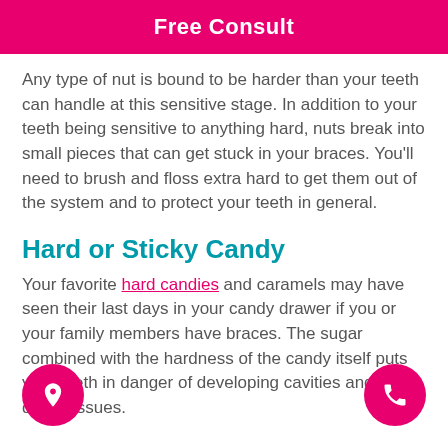Free Consult
Any type of nut is bound to be harder than your teeth can handle at this sensitive stage. In addition to your teeth being sensitive to anything hard, nuts break into small pieces that can get stuck in your braces. You'll need to brush and floss extra hard to get them out of the system and to protect your teeth in general.
Hard or Sticky Candy
Your favorite hard candies and caramels may have seen their last days in your candy drawer if you or your family members have braces. The sugar combined with the hardness of the candy itself puts your teeth in danger of developing cavities and other dental issues.